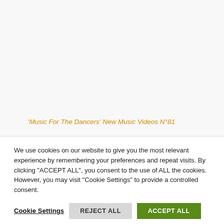'Music For The Dancers' New Music Videos N°81
We use cookies on our website to give you the most relevant experience by remembering your preferences and repeat visits. By clicking "ACCEPT ALL", you consent to the use of ALL the cookies. However, you may visit "Cookie Settings" to provide a controlled consent.
Cookie Settings   REJECT ALL   ACCEPT ALL